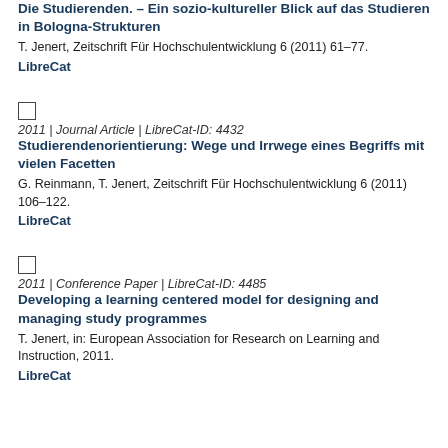Die Studierenden. – Ein sozio-kultureller Blick auf das Studieren in Bologna-Strukturen
T. Jenert, Zeitschrift Für Hochschulentwicklung 6 (2011) 61–77.
LibreCat
2011 | Journal Article | LibreCat-ID: 4432
Studierendenorientierung: Wege und Irrwege eines Begriffs mit vielen Facetten
G. Reinmann, T. Jenert, Zeitschrift Für Hochschulentwicklung 6 (2011) 106–122.
LibreCat
2011 | Conference Paper | LibreCat-ID: 4485
Developing a learning centered model for designing and managing study programmes
T. Jenert, in: European Association for Research on Learning and Instruction, 2011.
LibreCat